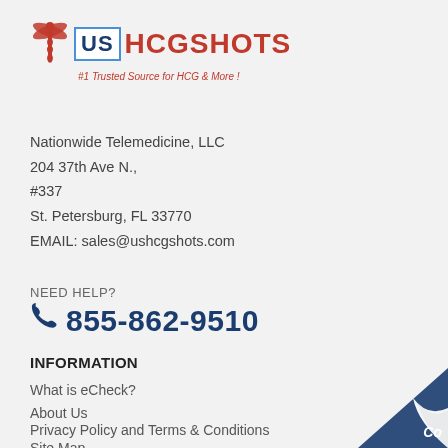[Figure (logo): US HCG Shots logo with caduceus icon, blue box around 'US', red 'HCGSHOTS' text, tagline '#1 Trusted Source for HCG & More!']
Nationwide Telemedicine, LLC
204 37th Ave N.,
#337
St. Petersburg, FL 33770
EMAIL: sales@ushcgshots.com
NEED HELP?
855-862-9510
INFORMATION
What is eCheck?
About Us
Privacy Policy and Terms & Conditions
Site Map